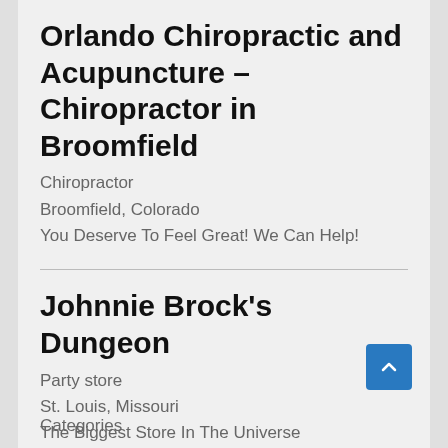Orlando Chiropractic and Acupuncture – Chiropractor in Broomfield
Chiropractor
Broomfield, Colorado
You Deserve To Feel Great! We Can Help!
Johnnie Brock's Dungeon
Party store
St. Louis, Missouri
The Biggest Store In The Universe
Categories